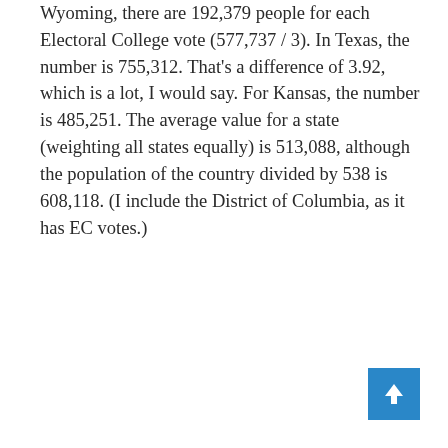Wyoming, there are 192,379 people for each Electoral College vote (577,737 / 3). In Texas, the number is 755,312. That's a difference of 3.92, which is a lot, I would say. For Kansas, the number is 485,251. The average value for a state (weighting all states equally) is 513,088, although the population of the country divided by 538 is 608,118. (I include the District of Columbia, as it has EC votes.)
[Figure (other): Blue square button with a white upward-pointing arrow, used as a scroll-to-top navigation element]